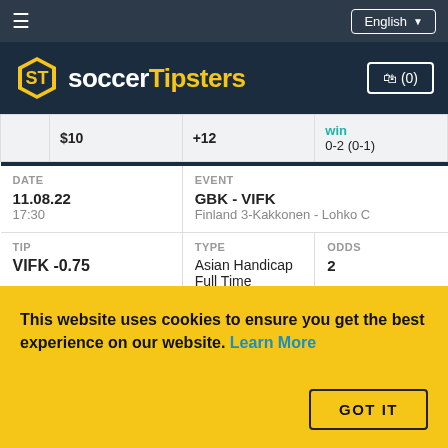≡  English ▾
[Figure (logo): SoccerTipsters logo with hexagon icon and shopping cart button showing (0)]
| DATE | EVENT | TIP | TYPE | ODDS | +/- | WAGER | RESULT |
| --- | --- | --- | --- | --- | --- | --- | --- |
|  | $10 | +12 | win
0-2 (0-1) |
| 11.08.22
17:30 | GBK - VIFK
Finland 3-Kakkonen - Lohko C |  |  |  |
|  |  | VIFK -0.75 | Asian Handicap Full Time | 2 |
|  | $10 | -10 | lose
2-0 (0-0) |
This website uses cookies to ensure you get the best experience on our website. Learn More
GOT IT